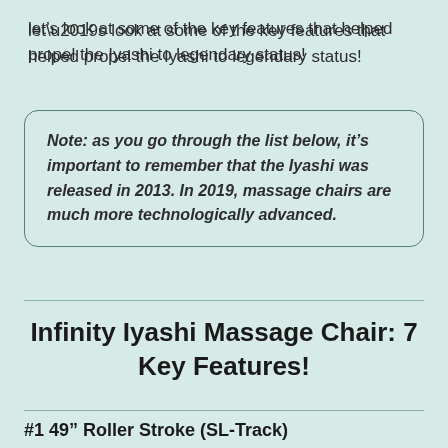let’s look at some of the key features that helped propel the Iyashi to legendary status!
Note: as you go through the list below, it’s important to remember that the Iyashi was released in 2013. In 2019, massage chairs are much more technologically advanced.
Infinity Iyashi Massage Chair: 7 Key Features!
#1 49” Roller Stroke (SL-Track)